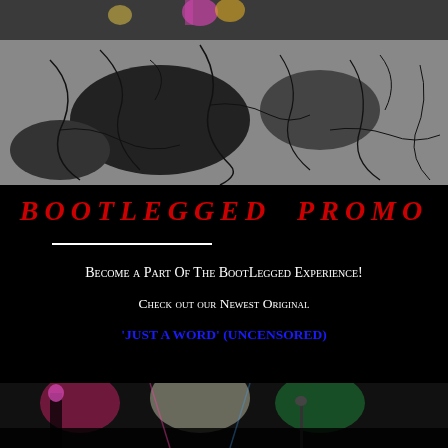[Figure (photo): Top banner image showing performers on stage with a cracked concrete/asphalt texture overlay in black and white/gray tones]
BOOTLEGGED PROMO
Become a Part Of The BootLegged Experience!
Check out our Newest Original
'JUST A WORD' (UNCENSORED)
[Figure (photo): Bottom strip image showing performers on stage with colorful stage lighting, pink and green tones]